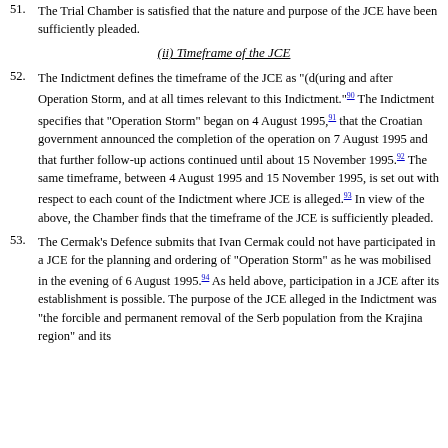51. The Trial Chamber is satisfied that the nature and purpose of the JCE have been sufficiently pleaded.
(ii) Timeframe of the JCE
52. The Indictment defines the timeframe of the JCE as "(d(uring and after Operation Storm, and at all times relevant to this Indictment."[90] The Indictment specifies that "Operation Storm" began on 4 August 1995,[91] that the Croatian government announced the completion of the operation on 7 August 1995 and that further follow-up actions continued until about 15 November 1995.[92] The same timeframe, between 4 August 1995 and 15 November 1995, is set out with respect to each count of the Indictment where JCE is alleged.[93] In view of the above, the Chamber finds that the timeframe of the JCE is sufficiently pleaded.
53. The Cermak's Defence submits that Ivan Cermak could not have participated in a JCE for the planning and ordering of "Operation Storm" as he was mobilised in the evening of 6 August 1995.[94] As held above, participation in a JCE after its establishment is possible. The purpose of the JCE alleged in the Indictment was "the forcible and permanent removal of the Serb population from the Krajina region" and its...